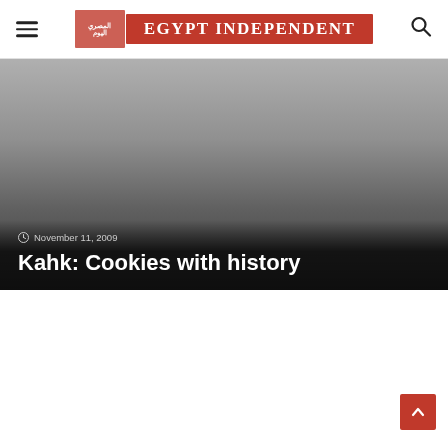Egypt Independent
[Figure (photo): Hero image with dark gradient overlay showing date and article title. Gray gradient background simulating a photo.]
November 11, 2009
Kahk: Cookies with history